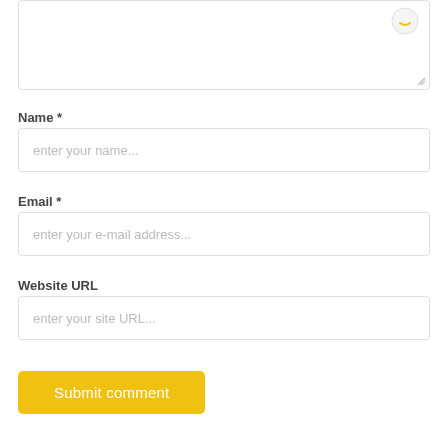[Figure (screenshot): Textarea input box with a smiley face icon in top-right corner and a resize handle at bottom-right]
Name *
[Figure (screenshot): Text input field with placeholder text 'enter your name...']
Email *
[Figure (screenshot): Text input field with placeholder text 'enter your e-mail address...']
Website URL
[Figure (screenshot): Text input field with placeholder text 'enter your site URL...']
Submit comment